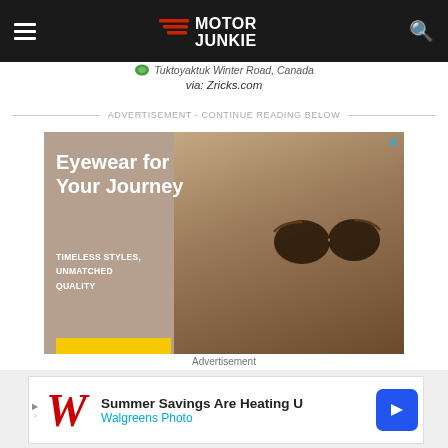Motor Junkie
Tuktoyaktuk Winter Road, Canada
via: Zricks.com
ADVERTISEMENT - CONTINUE READING BELOW
[Figure (photo): Advertisement for eyewear: man wearing round dark sunglasses, text 'Eyewear for Your Journey', 'TIMELESS STYLES, UNMATCHED QUALITY']
Advertisement
[Figure (infographic): Walgreens Photo banner ad: 'Summer Savings Are Heating U' / 'Walgreens Photo' with navigation arrow icon]